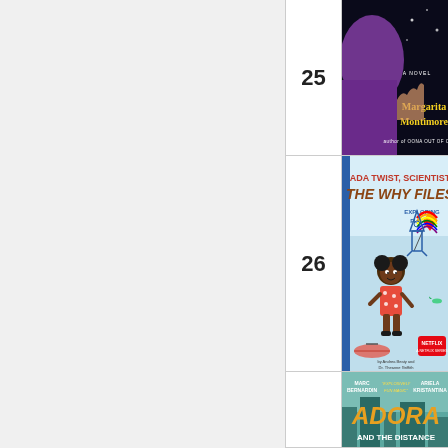25
[Figure (illustration): Book cover: Violet by Margarita Montimore - A Novel. Dark/black background with purple figure and yellow text. Author of Oona Out of Order.]
26
[Figure (illustration): Book cover: Ada Twist Scientist: The Why Files - Exploring Flight. Light blue background with cartoon girl in red polka dot dress, rocket, rainbow kite, helicopter. Netflix series badge. By Andrea Beaty and Dr. Theanne Griffith.]
[Figure (illustration): Book cover: Adora and the Distance by Marc Bernardin and Ariela Kristantina. Partial view showing title text and illustrated characters.]